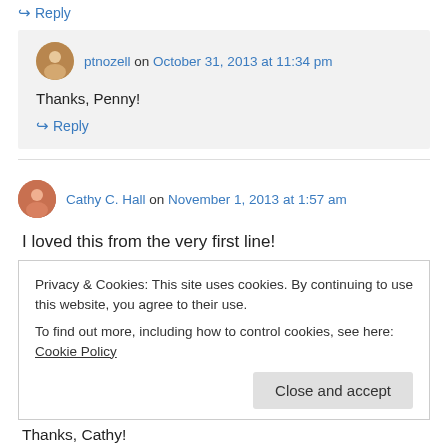↪ Reply
ptnozell on October 31, 2013 at 11:34 pm
Thanks, Penny!
↪ Reply
Cathy C. Hall on November 1, 2013 at 1:57 am
I loved this from the very first line!
Privacy & Cookies: This site uses cookies. By continuing to use this website, you agree to their use.
To find out more, including how to control cookies, see here: Cookie Policy
Close and accept
Thanks, Cathy!